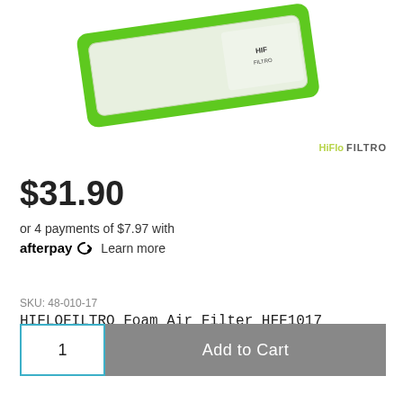[Figure (photo): Product photo of HIFLOFILTRO foam air filter with green border, partially cropped at top]
HiFlo FILTRO
$31.90
or 4 payments of $7.97 with afterpay Learn more
SKU: 48-010-17
HIFLOFILTRO Foam Air Filter HFF1017
1  Add to Cart